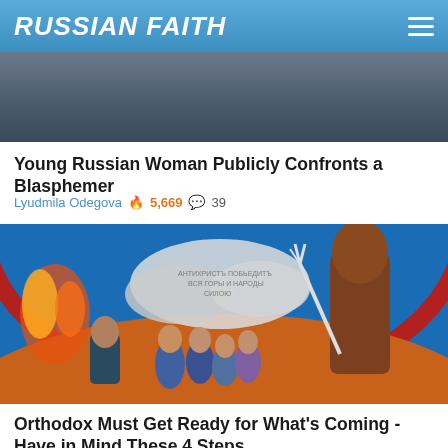RUSSIAN FAITH
[Figure (photo): Partial photo showing a person near a railing outdoors, cropped at top]
Young Russian Woman Publicly Confronts a Blasphemer
Lyudmila Odegova 🔥 5,669 💬 39
[Figure (photo): Religious painting/mural depicting a devil with trident, people, flames, and Cyrillic text on a circular background]
Orthodox Must Get Ready for What's Coming - Have in Mind These 4 Steps